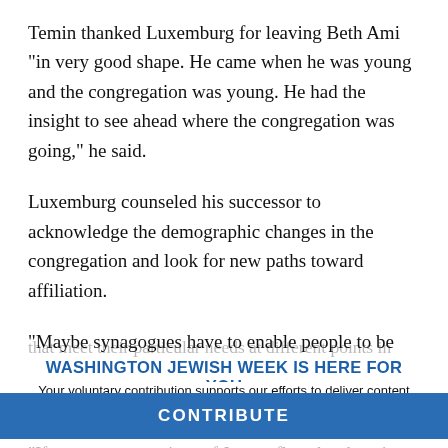Temin thanked Luxemburg for leaving Beth Ami “in very good shape. He came when he was young and the congregation was young. He had the insight to see ahead where the congregation was going,” he said.
Luxemburg counseled his successor to acknowledge the demographic changes in the congregation and look for new paths toward affiliation.
“Maybe synagogues have to enable people to be affiliated in ways that meet their particular needs at different points in their lives. Some want family memberships, some want individual memberships...
WASHINGTON JEWISH WEEK IS HERE FOR YOU
Your voluntary contribution supports our efforts to deliver content that engages and helps strengthen the Jewish community in the DMV.
CONTRIBUTE
“If younger generations of Jews reflect the changing patte... joining, then we have to make synagogue affiliation meani....